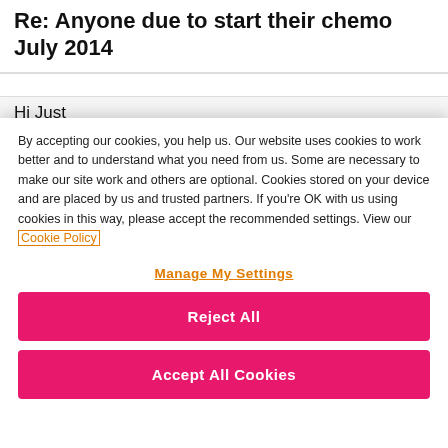Re: Anyone due to start their chemo July 2014
Hi Just
By accepting our cookies, you help us. Our website uses cookies to work better and to understand what you need from us. Some are necessary to make our site work and others are optional. Cookies stored on your device and are placed by us and trusted partners. If you're OK with us using cookies in this way, please accept the recommended settings. View our Cookie Policy
Manage My Settings
Reject All
Accept All Cookies